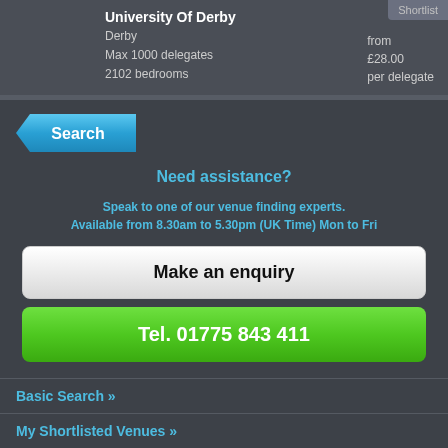Shortlist
University Of Derby
Derby
Max 1000 delegates
2102 bedrooms
from £28.00 per delegate
Search
Need assistance?
Speak to one of our venue finding experts.
Available from 8.30am to 5.30pm (UK Time) Mon to Fri
Make an enquiry
Tel. 01775 843 411
Basic Search »
My Shortlisted Venues »
Featured Venues »